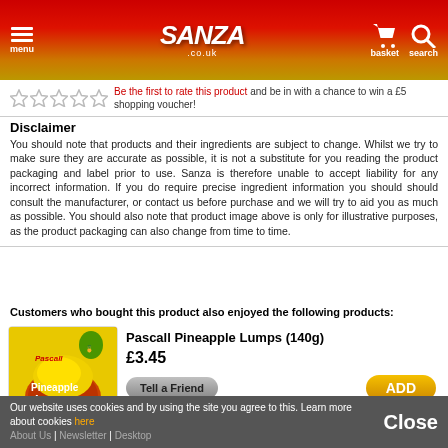Sanza.co.uk — menu, basket, search
Be the first to rate this product and be in with a chance to win a £5 shopping voucher!
Disclaimer
You should note that products and their ingredients are subject to change. Whilst we try to make sure they are accurate as possible, it is not a substitute for you reading the product packaging and label prior to use. Sanza is therefore unable to accept liability for any incorrect information. If you do require precise ingredient information you should should consult the manufacturer, or contact us before purchase and we will try to aid you as much as possible. You should also note that product image above is only for illustrative purposes, as the product packaging can also change from time to time.
Customers who bought this product also enjoyed the following products:
[Figure (photo): Pascall Pineapple Lumps 140g product bag]
Pascall Pineapple Lumps (140g)
£3.45
Our website uses cookies and by using the site you agree to this. Learn more about cookies here About Us | Newsletter | Desktop  Close